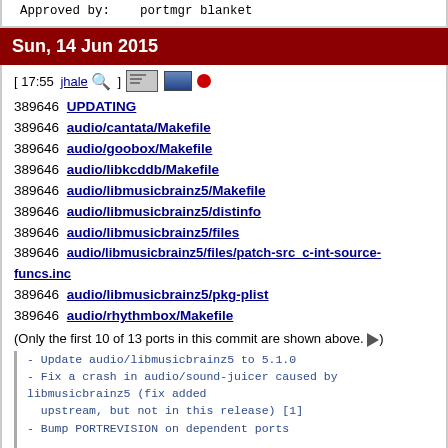Approved by:    portmgr blanket
Sun, 14 Jun 2015
[ 17:55 jhale 🔍 ] [icons]
389646 UPDATING
389646 audio/cantata/Makefile
389646 audio/goobox/Makefile
389646 audio/libkcddb/Makefile
389646 audio/libmusicbrainz5/Makefile
389646 audio/libmusicbrainz5/distinfo
389646 audio/libmusicbrainz5/files
389646 audio/libmusicbrainz5/files/patch-src_c-int-source-funcs.inc
389646 audio/libmusicbrainz5/pkg-plist
389646 audio/rhythmbox/Makefile
(Only the first 10 of 13 ports in this commit are shown above. ▶)
- Update audio/libmusicbrainz5 to 5.1.0
- Fix a crash in audio/sound-juicer caused by libmusicbrainz5 (fix added upstream, but not in this release) [1]
- Bump PORTREVISION on dependent ports

PR:             196959 [1]
Submitted by:   Pete Johanson
<peter@peterjohanson.com> [1]